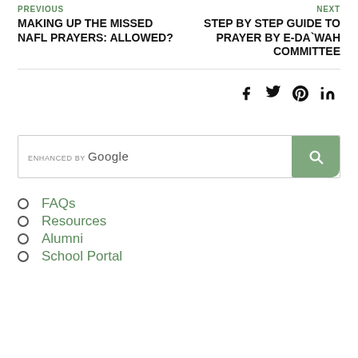PREVIOUS
MAKING UP THE MISSED NAFL PRAYERS: ALLOWED?
NEXT
STEP BY STEP GUIDE TO PRAYER BY E-DA`WAH COMMITTEE
[Figure (infographic): Social media share icons: Facebook (f), Twitter (bird), Pinterest (P), LinkedIn (in)]
[Figure (screenshot): Enhanced by Google search bar with green search button containing magnifying glass icon]
FAQs
Resources
Alumni
School Portal